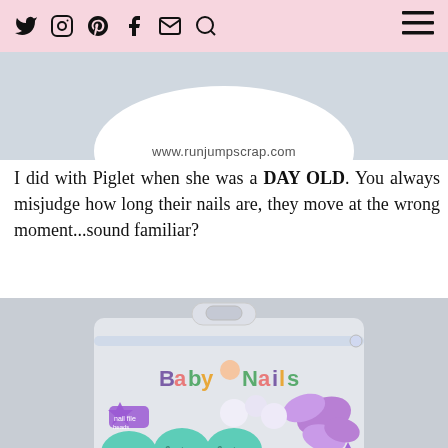Social media icons and menu bar for www.runjumpscrap.com
[Figure (photo): Partial view of a circular logo/image with www.runjumpscrap.com text on a grey background]
I did with Piglet when she was a DAY OLD. You always misjudge how long their nails are, they move at the wrong moment...sound familiar?
[Figure (photo): Baby Nails product package - a clear zip bag containing baby nail files in teal and purple colors, labeled 6m+, with a butterfly decoration and star badges]